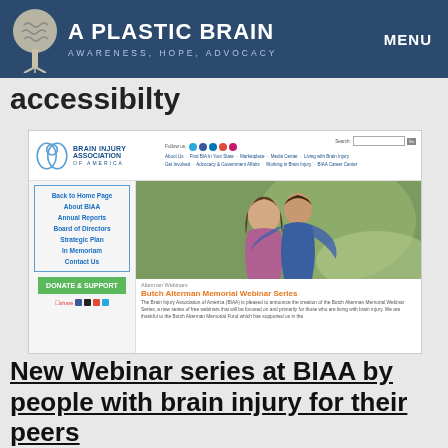A PLASTIC BRAIN — AWARENESS, HOPE, ADVOCACY | MENU
accessibilty
[Figure (screenshot): Screenshot of the Brain Injury Association of America (BIAA) website showing navigation, a photo of two people hugging, and a Butch Alterman Memorial Webinar Series article listing.]
New Webinar series at BIAA by people with brain injury for their peers